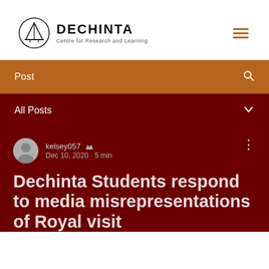[Figure (logo): Dechinta Centre for Research and Learning logo with circular tent icon and text]
Post
All Posts
kelsey057 Admin
Dec 10, 2020 · 5 min
Dechinta Students respond to media misrepresentations of Royal visit